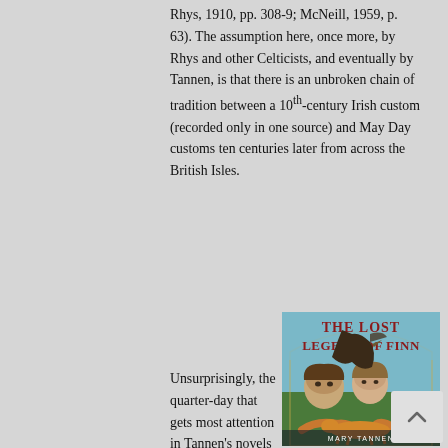Rhys, 1910, pp. 308-9; McNeill, 1959, p. 63). The assumption here, once more, by Rhys and other Celticists, and eventually by Tannen, is that there is an unbroken chain of tradition between a 10th-century Irish custom (recorded only in one source) and May Day customs ten centuries later from across the British Isles.
Unsurprisingly, the quarter-day that gets most attention in Tannen's novels is Samhain. The Wizard Children
[Figure (photo): Book cover of 'The Lost Legend of Finn' by Mary Tannen, showing two children's faces, a large dark bird, a horse, and a running fox/deer, with the title in red medieval-style lettering at top and author name at bottom.]